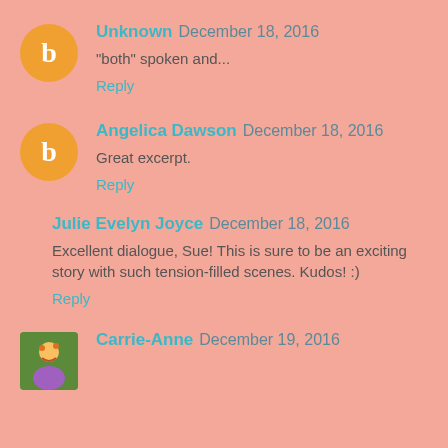Unknown December 18, 2016
"both" spoken and...
Reply
Angelica Dawson December 18, 2016
Great excerpt.
Reply
Julie Evelyn Joyce December 18, 2016
Excellent dialogue, Sue! This is sure to be an exciting story with such tension-filled scenes. Kudos! :)
Reply
Carrie-Anne December 19, 2016